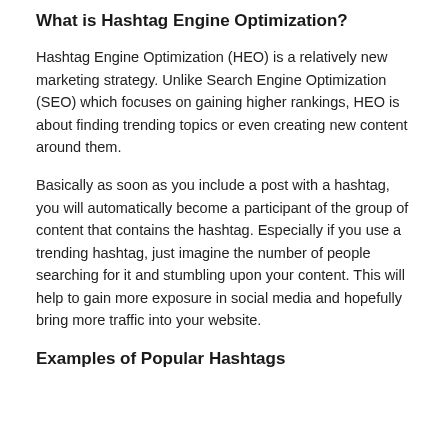What is Hashtag Engine Optimization?
Hashtag Engine Optimization (HEO) is a relatively new marketing strategy. Unlike Search Engine Optimization (SEO) which focuses on gaining higher rankings, HEO is about finding trending topics or even creating new content around them.
Basically as soon as you include a post with a hashtag, you will automatically become a participant of the group of content that contains the hashtag. Especially if you use a trending hashtag, just imagine the number of people searching for it and stumbling upon your content. This will help to gain more exposure in social media and hopefully bring more traffic into your website.
Examples of Popular Hashtags